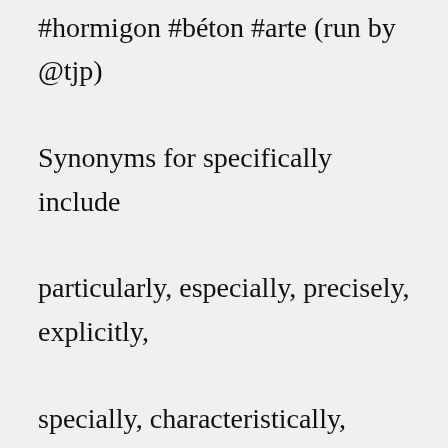#hormigon #béton #arte (run by @tjp) Synonyms for specifically include particularly, especially, precisely, explicitly, specially, characteristically, clearly, distinctively, exactly and ... Jan 21, 2022 · The latest Tweets from 🏗 The Concretely (@TheConcretely). Just clicking around for concrete #concrete #art #concretesculpture #hormigon #béton #arte (run by @tjp) Yes this is fabulous! I would like to acknowledge the work being done in